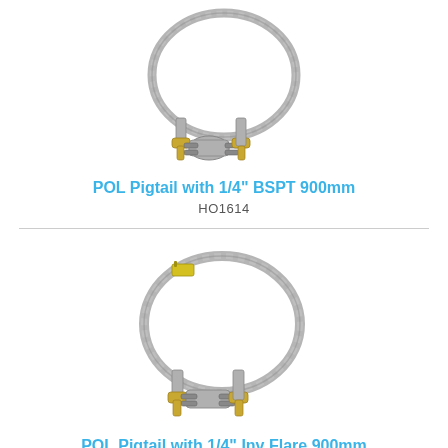[Figure (photo): POL Pigtail with 1/4" BSPT 900mm - braided stainless steel hose with brass fittings and POL connector]
POL Pigtail with 1/4" BSPT 900mm
HO1614
[Figure (photo): POL Pigtail with 1/4" Inv Flare 900mm - braided stainless steel hose with brass fittings and POL connector with yellow tag]
POL Pigtail with 1/4" Inv Flare 900mm